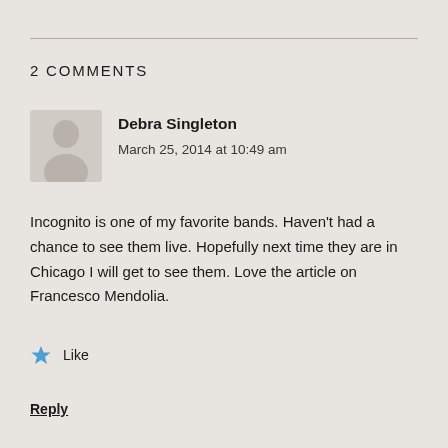2 COMMENTS
[Figure (illustration): Default user avatar: grey silhouette of a person on a light grey square background]
Debra Singleton
March 25, 2014 at 10:49 am
Incognito is one of my favorite bands. Haven’t had a chance to see them live. Hopefully next time they are in Chicago I will get to see them. Love the article on Francesco Mendolia.
Like
Reply